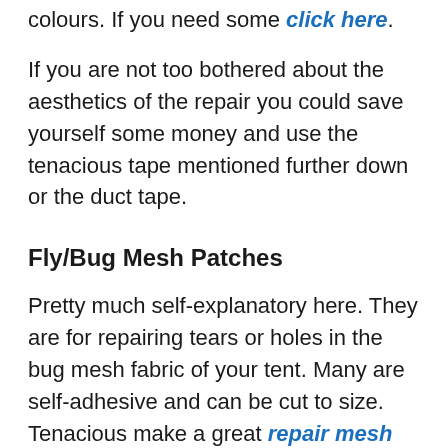colours. If you need some click here.
If you are not too bothered about the aesthetics of the repair you could save yourself some money and use the tenacious tape mentioned further down or the duct tape.
Fly/Bug Mesh Patches
Pretty much self-explanatory here. They are for repairing tears or holes in the bug mesh fabric of your tent. Many are self-adhesive and can be cut to size. Tenacious make a great repair mesh that is self-adheshive.
All Purpose Glue